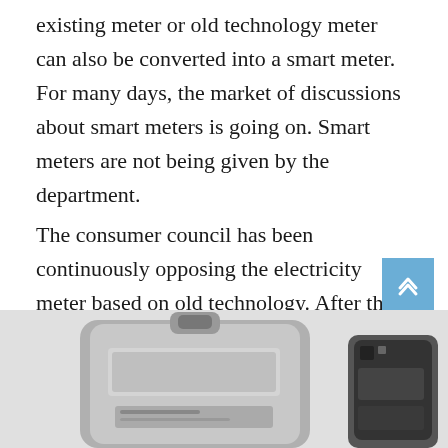existing meter or old technology meter can also be converted into a smart meter. For many days, the market of discussions about smart meters is going on. Smart meters are not being given by the department.
The consumer council has been continuously opposing the electricity meter based on old technology. After this, it has come to the fore that it will have smart prepaid meters which are going to be based on 4G technology.
[Figure (photo): Photograph of two electricity meters — one analog/legacy meter on the left and one smart/digital meter on the right, shown in grayscale at the bottom of the page.]